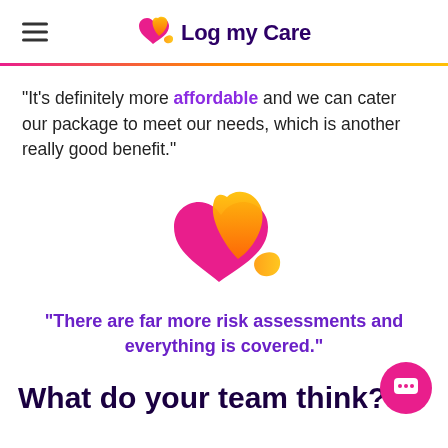Log my Care
"It's definitely more affordable and we can cater our package to meet our needs, which is another really good benefit."
[Figure (logo): Log my Care logo icon — pink heart with orange/yellow flame leaf shapes]
"There are far more risk assessments and everything is covered."
What do your team think?